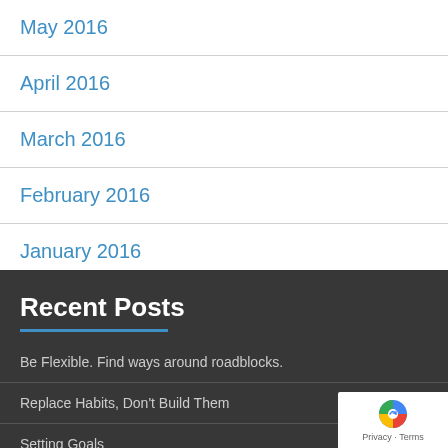May 2016
April 2016
March 2016
February 2016
January 2016
Recent Posts
Be Flexible. Find ways around roadblocks.
Replace Habits, Don't Build Them
Setting Goals
How to hire a personal trainer if you are an introvert